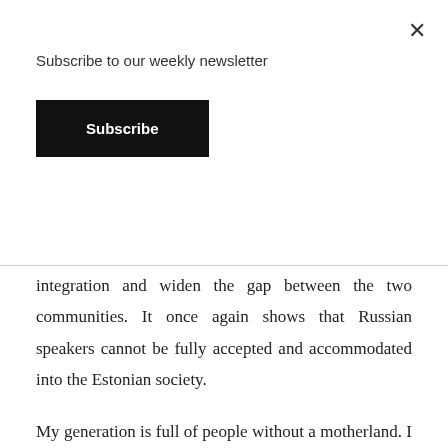Subscribe to our weekly newsletter
Subscribe
integration and widen the gap between the two communities. It once again shows that Russian speakers cannot be fully accepted and accommodated into the Estonian society.
My generation is full of people without a motherland. I do not feel myself either Russian or Estonian. Estonia is my home country, the place where I was born, where my parents have lived for most of their life. But my country does not accept me. I’m not Russian either, because in order to be one I should consider Russia as my